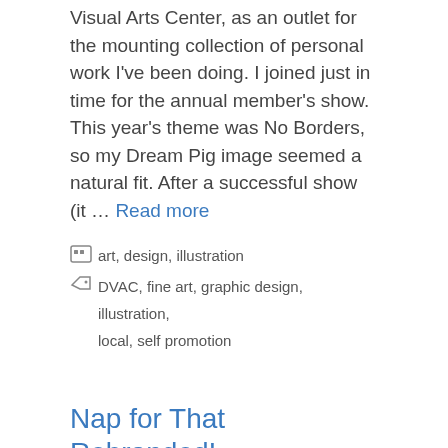Visual Arts Center, as an outlet for the mounting collection of personal work I've been doing. I joined just in time for the annual member's show. This year's theme was No Borders, so my Dream Pig image seemed a natural fit. After a successful show (it … Read more
Categories: art, design, illustration
Tags: DVAC, fine art, graphic design, illustration, local, self promotion
Nap for That Rebranded!
October 28, 2012 by Nicholas